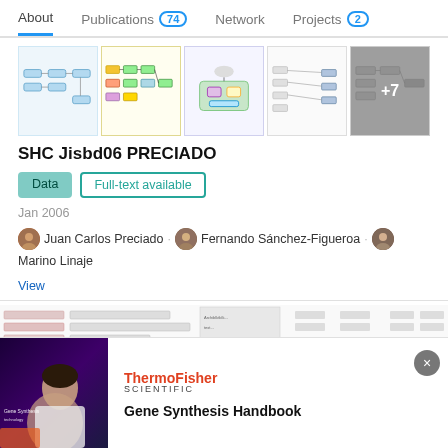About | Publications 74 | Network | Projects 2
[Figure (screenshot): Strip of 5 thumbnail images showing various engineering/system diagrams and flowcharts, with a '+7' overlay on the last visible image]
SHC Jisbd06 PRECIADO
Data   Full-text available
Jan 2006
Juan Carlos Preciado · Fernando Sánchez-Figueroa · Marino Linaje
View
[Figure (screenshot): Partial view of a table/document at the bottom of the page]
[Figure (logo): ThermoFisher Scientific logo]
Gene Synthesis Handbook